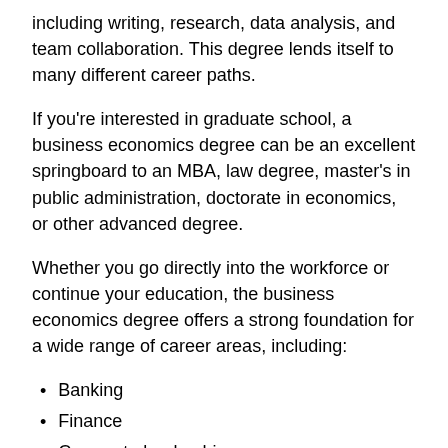including writing, research, data analysis, and team collaboration. This degree lends itself to many different career paths.
If you're interested in graduate school, a business economics degree can be an excellent springboard to an MBA, law degree, master's in public administration, doctorate in economics, or other advanced degree.
Whether you go directly into the workforce or continue your education, the business economics degree offers a strong foundation for a wide range of career areas, including:
Banking
Finance
Corporate leadership
Public administration
Nonprofit leadership
Entrepreneurship